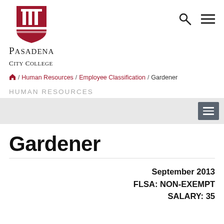[Figure (logo): Pasadena City College logo with red shield/pillars icon and text 'PASADENA CITY COLLEGE']
🔍  ≡
🏠 / Human Resources / Employee Classification / Gardener
HUMAN RESOURCES
[Figure (other): Light gray navigation bar with dark gray hamburger menu button on the right]
Gardener
September 2013
FLSA: NON-EXEMPT
SALARY: 35